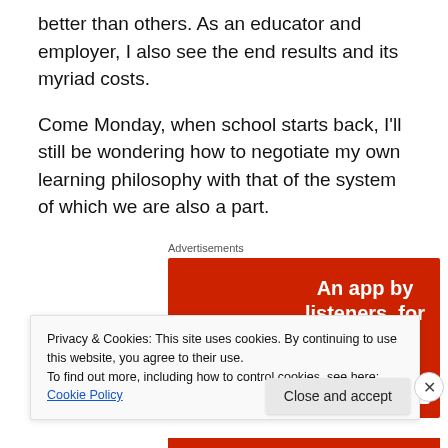better than others. As an educator and employer, I also see the end results and its myriad costs.
Come Monday, when school starts back, I'll still be wondering how to negotiate my own learning philosophy with that of the system of which we are also a part.
[Figure (screenshot): Advertisement banner: Red background with phone showing 'Dis-trib-ted' text and tagline 'An app by listeners, for listeners.' with a Download button.]
Privacy & Cookies: This site uses cookies. By continuing to use this website, you agree to their use.
To find out more, including how to control cookies, see here: Cookie Policy
Close and accept